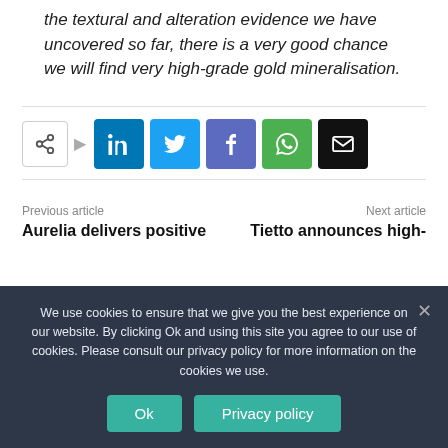the textural and alteration evidence we have uncovered so far, there is a very good chance we will find very high-grade gold mineralisation.
[Figure (infographic): Social share buttons row: share icon button, LinkedIn (blue), Twitter (light blue), Facebook (purple), WhatsApp (green), Email (black)]
Previous article
Aurelia delivers positive
Next article
Tietto announces high-
We use cookies to ensure that we give you the best experience on our website. By clicking Ok and using this site you agree to our use of cookies. Please consult our privacy policy for more information on the cookies we use.